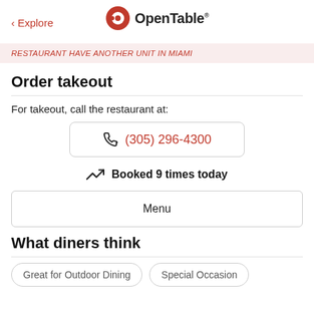< Explore  OpenTable
RESTAURANT HAVE ANOTHER UNIT IN MIAMI
Order takeout
For takeout, call the restaurant at:
(305) 296-4300
Booked 9 times today
Menu
What diners think
Great for Outdoor Dining
Special Occasion